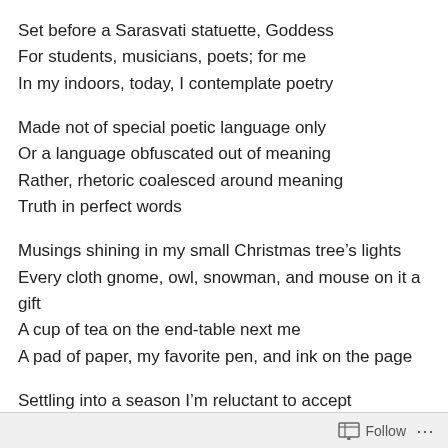Set before a Sarasvati statuette, Goddess
For students, musicians, poets; for me
In my indoors, today, I contemplate poetry
Made not of special poetic language only
Or a language obfuscated out of meaning
Rather, rhetoric coalesced around meaning
Truth in perfect words
Musings shining in my small Christmas tree’s lights
Every cloth gnome, owl, snowman, and mouse on it a gift
A cup of tea on the end-table next me
A pad of paper, my favorite pen, and ink on the page
Settling into a season I’m reluctant to accept
Seeing it coming in the early autumn sunset
Follow ...